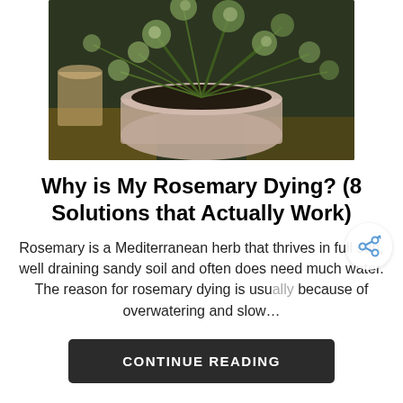[Figure (photo): A potted rosemary plant photographed from above showing dark soil and green rosemary branches spreading out from a light pink/beige pot, placed on a wooden surface.]
Why is My Rosemary Dying? (8 Solutions that Actually Work)
Rosemary is a Mediterranean herb that thrives in full sun, well draining sandy soil and often does need much water. The reason for rosemary dying is usually because of overwatering and slow…
CONTINUE READING